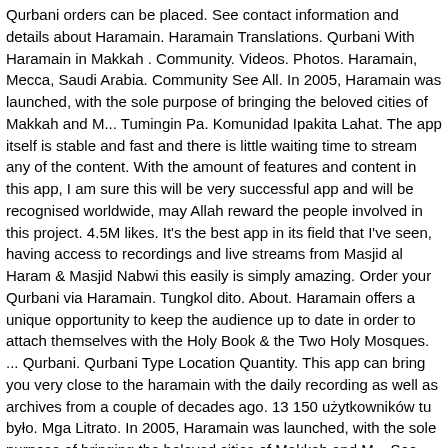Qurbani orders can be placed. See contact information and details about Haramain. Haramain Translations. Qurbani With Haramain in Makkah . Community. Videos. Photos. Haramain, Mecca, Saudi Arabia. Community See All. In 2005, Haramain was launched, with the sole purpose of bringing the beloved cities of Makkah and M... Tumingin Pa. Komunidad Ipakita Lahat. The app itself is stable and fast and there is little waiting time to stream any of the content. With the amount of features and content in this app, I am sure this will be very successful app and will be recognised worldwide, may Allah reward the people involved in this project. 4.5M likes. It's the best app in its field that I've seen, having access to recordings and live streams from Masjid al Haram & Masjid Nabwi this easily is simply amazing. Order your Qurbani via Haramain. Tungkol dito. About. Haramain offers a unique opportunity to keep the audience up to date in order to attach themselves with the Holy Book & the Two Holy Mosques. ... Qurbani. Qurbani Type Location Quantity. This app can bring you very close to the haramain with the daily recording as well as archives from a couple of decades ago. 13 150 użytkowników tu było. Mga Litrato. In 2005, Haramain was launched, with the sole purpose of bringing the beloved cities of Makkah and M... See More. Official Facebook for Haramain.com Twitter: @HaramainInfo & Instagram: @Haramain_Info Haramain Umrah / Dates / Qurbani & Ziyaarah. This video is unavailable. From the Hajj Season of 1437, Haramain began offering a service for pilgrims as well as Muslims throughout the entire world to perform Qurbani in the cities for Hajj. Fi...